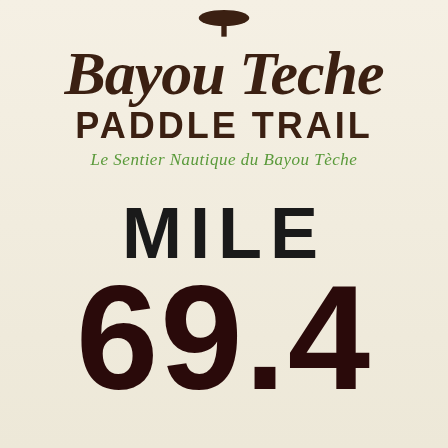[Figure (logo): Bayou Teche Paddle Trail logo with paddle icon at top, decorative script text 'Bayou Teche', bold sans-serif 'PADDLE TRAIL', and green italic French subtitle 'Le Sentier Nautique du Bayou Tèche']
MILE
69.4